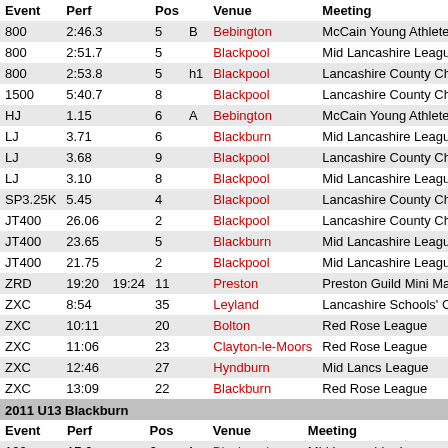| Event | Perf |  | Pos |  | Venue | Meeting |
| --- | --- | --- | --- | --- | --- | --- |
| 800 | 2:46.3 |  | 5 | B | Bebington | McCain Young Athletes' |
| 800 | 2:51.7 |  | 5 |  | Blackpool | Mid Lancashire League |
| 800 | 2:53.8 |  | 5 | h1 | Blackpool | Lancashire County Cha |
| 1500 | 5:40.7 |  | 8 |  | Blackpool | Lancashire County Cha |
| HJ | 1.15 |  | 6 | A | Bebington | McCain Young Athletes' |
| LJ | 3.71 |  | 6 |  | Blackburn | Mid Lancashire League |
| LJ | 3.68 |  | 9 |  | Blackpool | Lancashire County Cha |
| LJ | 3.10 |  | 8 |  | Blackpool | Mid Lancashire League |
| SP3.25K | 5.45 |  | 4 |  | Blackpool | Lancashire County Cha |
| JT400 | 26.06 |  | 2 |  | Blackpool | Lancashire County Cha |
| JT400 | 23.65 |  | 5 |  | Blackburn | Mid Lancashire League |
| JT400 | 21.75 |  | 2 |  | Blackpool | Mid Lancashire League |
| ZRD | 19:20 | 19:24 | 11 |  | Preston | Preston Guild Mini Mara |
| ZXC | 8:54 |  | 35 |  | Leyland | Lancashire Schools' Ch |
| ZXC | 10:11 |  | 20 |  | Bolton | Red Rose League |
| ZXC | 11:06 |  | 23 |  | Clayton-le-Moors | Red Rose League |
| ZXC | 12:46 |  | 27 |  | Hyndburn | Mid Lancs League |
| ZXC | 13:09 |  | 22 |  | Blackburn | Red Rose League |
| ZXC | 13:16 |  | 25 |  | Kendal | Mid Lancs League |
| ZXC | 13:43 |  | 131 |  | Pontefract | Northern Championship |
| ZXC | 13:59 |  | 31 |  | Leyland | Mid Lancs League |
2011 U13 Blackburn
| Event | Perf |  | Pos |  | Venue | Meeting |
| --- | --- | --- | --- | --- | --- | --- |
| 100 | 17.6 |  | 6 | 4 | Blackpool | Mid Lancashire League |